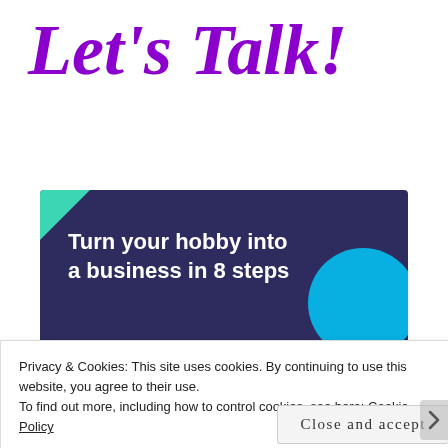Let's Talk!
[Figure (illustration): Dark purple banner with teal triangle top-left and cyan circle bottom-right, white bold text reading 'Turn your hobby into a business in 8 steps']
Privacy & Cookies: This site uses cookies. By continuing to use this website, you agree to their use.
To find out more, including how to control cookies, see here: Cookie Policy
Close and accept